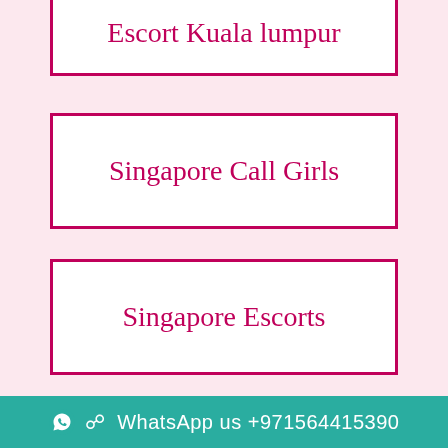Escort Kuala lumpur
Singapore Call Girls
Singapore Escorts
Kuala lumpur Escort
Mumbai Escort Club
WhatsApp us +971564415390